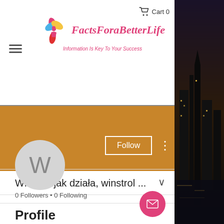[Figure (logo): FactsForaBetterLife logo with colorful snowflake/star icon and text 'FactsForaBetterLife' in pink italic with subtitle 'Information Is Key To Your Success']
Cart 0
[Figure (screenshot): User profile banner in golden/tan brown color with Follow button and three-dot menu]
[Figure (illustration): Circular avatar with letter W on gray background]
Winstrol jak działa, winstrol ...
0 Followers • 0 Following
Profile
[Figure (photo): Night city photo of Westminster/Parliament area visible in right panel]